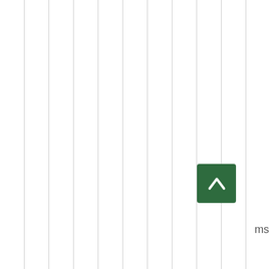15+ air yards Jones 7, Wilson 9, Lawrence 10 — so the number of deep completions aren't too different. And Lawrence has had a problem of throwing deeper too often, leading to a bad DVOA. So 7 or 9 might be close to the optimum among the rookies. Some day Lawrence will